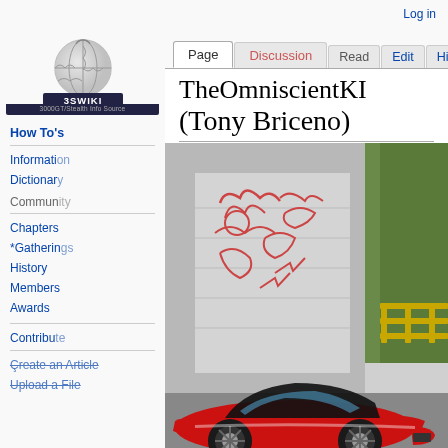Log in
[Figure (logo): 3SWIKI logo — globe puzzle piece icon above a dark banner reading '3SWIKI' and subtitle '3000GT/Stealth Info Source']
How To's
Information
Dictionary
Community
Chapters
*Gatherings
History
Members
Awards
Contribute
Create an Article
Upload a File
TheOmniscientKI (Tony Briceno)
[Figure (photo): A red sports car (Mitsubishi 3000GT/Dodge Stealth) parked in front of a building with graffiti on the garage door, with green trees visible in the background and yellow metal railings on the right.]